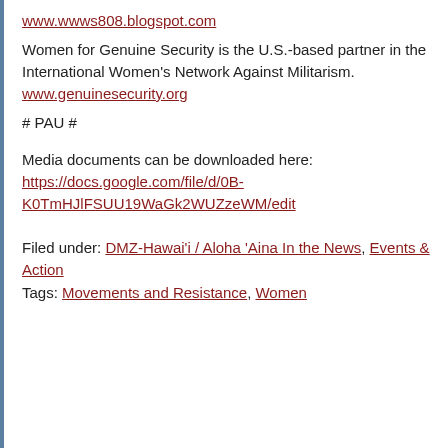www.wwws808.blogspot.com
Women for Genuine Security is the U.S.-based partner in the International Women's Network Against Militarism.
www.genuinesecurity.org
# PAU #
Media documents can be downloaded here:
https://docs.google.com/file/d/0B-K0TmHJlFSUU19WaGk2WUZzeWM/edit
Filed under: DMZ-Hawai'i / Aloha 'Aina In the News, Events & Action
Tags: Movements and Resistance, Women